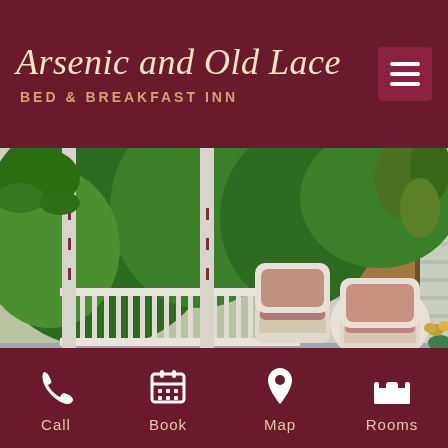Arsenic and Old Lace
BED & BREAKFAST INN
[Figure (photo): Covered porch of a Victorian bed and breakfast inn with white wicker chairs with floral cushions, white painted railings and columns, hanging fern, ivy climbing the wall, and lush green trees visible in the background. A green vase with flowers and a mug sit on a wicker table.]
Call   Book   Map   Rooms